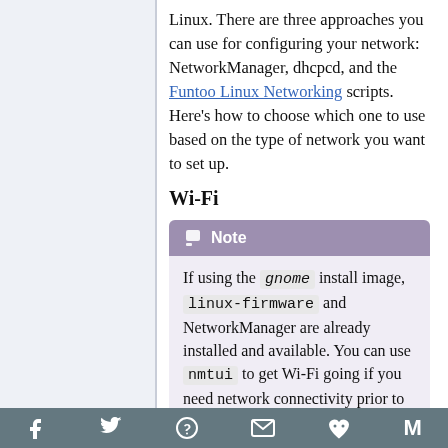Linux. There are three approaches you can use for configuring your network: NetworkManager, dhcpcd, and the Funtoo Linux Networking scripts. Here's how to choose which one to use based on the type of network you want to set up.
Wi-Fi
Note
If using the gnome install image, linux-firmware and NetworkManager are already installed and available. You can use nmtui to get Wi-Fi going if you need network connectivity prior to getting X and GNOME fully up and running. In addition, ZeroConf/Bonjour multicast DNS
f  [twitter]  [reddit]  [mail]  [paw]  M